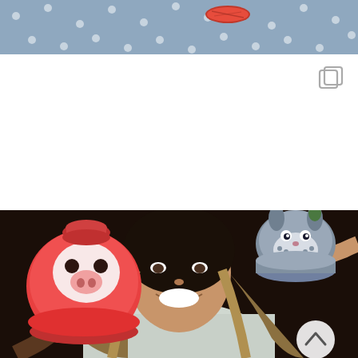[Figure (photo): Top strip showing a blue polka-dot tablecloth background with a small red candy or food item visible at the top of the frame.]
[Figure (screenshot): White area with a gallery/multi-image icon (overlapping squares) in the upper right corner, indicating this is a social media post with multiple images.]
[Figure (photo): A smiling Asian woman holding up two decorative desserts: on the left, a round red pig-shaped cake with chocolate dot eyes and a snout, topped with a red macaron hat; on the right, a gray Totoro-shaped macaron with decorative face details. The woman wears a light-colored turtleneck. Background is dark/bokeh. A circular scroll-up arrow button is visible in the lower right.]